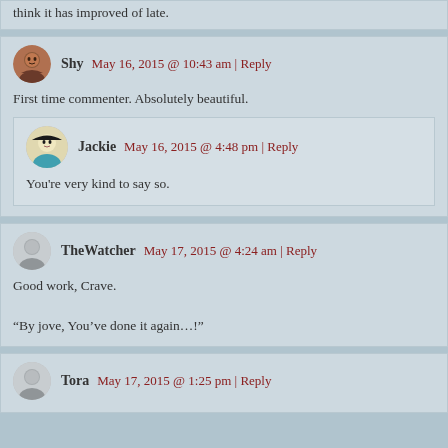think it has improved of late.
Shy   May 16, 2015 @ 10:43 am | Reply
First time commenter. Absolutely beautiful.
Jackie   May 16, 2015 @ 4:48 pm | Reply
You're very kind to say so.
TheWatcher   May 17, 2015 @ 4:24 am | Reply
Good work, Crave.

“By jove, You’ve done it again…!”
Tora   May 17, 2015 @ 1:25 pm | Reply